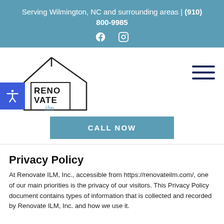Serving Wilmington, NC and surrounding areas | (910) 800-9985
[Figure (logo): Facebook and Instagram social media icons in white on blue background]
[Figure (logo): Renovate ILM logo: house outline with RENOVATE ILM text inside]
[Figure (other): Hamburger menu icon (three horizontal lines) in dark navy blue]
[Figure (other): Accessibility icon (person with outstretched arms) on blue square button]
CALL NOW
Privacy Policy
At Renovate ILM, Inc., accessible from https://renovateilm.com/, one of our main priorities is the privacy of our visitors. This Privacy Policy document contains types of information that is collected and recorded by Renovate ILM, Inc. and how we use it.